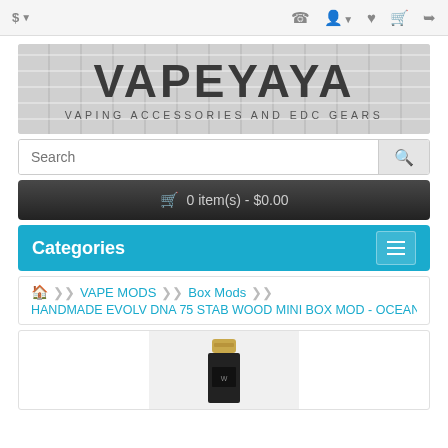$ | phone icon | user icon | heart icon | cart icon | share icon
[Figure (logo): VAPEYAYA logo on brick background with subtitle VAPING ACCESSORIES AND EDC GEARS]
Search
🛒 0 item(s) - $0.00
Categories
🏠 VAPE MODS › Box Mods › HANDMADE EVOLV DNA 75 STAB WOOD MINI BOX MOD - OCEAN - VAPE...
[Figure (photo): Product image of a vape mod device]